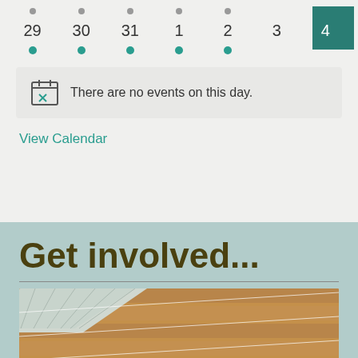[Figure (other): Calendar row with dates 29, 30, 31, 1, 2, 3, 4 showing gray dots above some dates and teal dots below others. Date 4 is highlighted with a teal background box.]
There are no events on this day.
View Calendar
Get involved...
[Figure (photo): Photo of a farm structure with a corrugated metal roof and wooden panels, with white string or wire visible.]